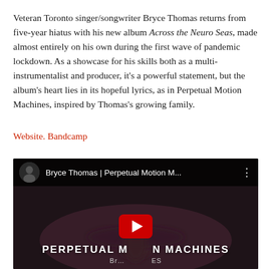Veteran Toronto singer/songwriter Bryce Thomas returns from five-year hiatus with his new album Across the Neuro Seas, made almost entirely on his own during the first wave of pandemic lockdown. As a showcase for his skills both as a multi-instrumentalist and producer, it's a powerful statement, but the album's heart lies in its hopeful lyrics, as in Perpetual Motion Machines, inspired by Thomas's growing family.
Website. Bandcamp
[Figure (screenshot): YouTube video embed showing 'Bryce Thomas | Perpetual Motion M...' with a dark video frame showing a blurry figure with arms outstretched and text 'PERPETUAL MOTION MACHINES' overlaid at the bottom, with a red YouTube play button in the center.]